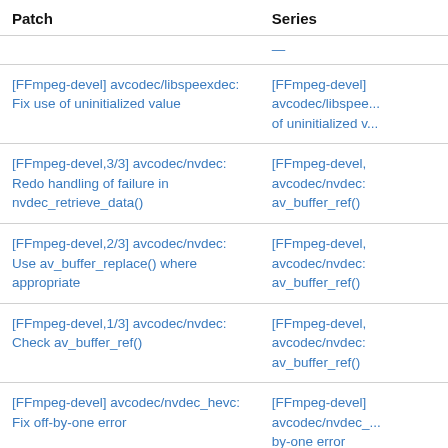| Patch | Series |
| --- | --- |
| [FFmpeg-devel] avcodec/libspeexdec: Fix use of uninitialized value | [FFmpeg-devel] avcodec/libspee... of uninitialized v... |
| [FFmpeg-devel,3/3] avcodec/nvdec: Redo handling of failure in nvdec_retrieve_data() | [FFmpeg-devel,... avcodec/nvdec:... av_buffer_ref() |
| [FFmpeg-devel,2/3] avcodec/nvdec: Use av_buffer_replace() where appropriate | [FFmpeg-devel,... avcodec/nvdec:... av_buffer_ref() |
| [FFmpeg-devel,1/3] avcodec/nvdec: Check av_buffer_ref() | [FFmpeg-devel,... avcodec/nvdec:... av_buffer_ref() |
| [FFmpeg-devel] avcodec/nvdec_hevc: Fix off-by-one error | [FFmpeg-devel] avcodec/nvdec_... by-one error |
| [FFmpeg-devel,9/9] avcodec/cbs_h2645: Remove always-false check | [FFmpeg-devel,... avcodec/error_r... Avoid overhead... API |